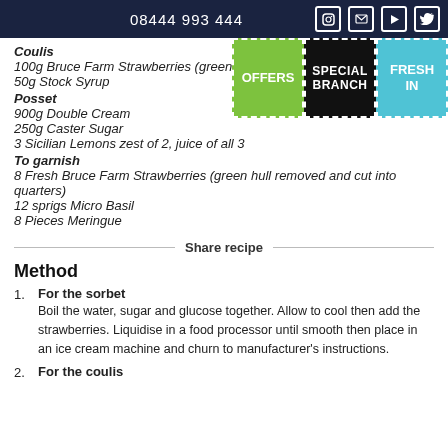08444 993 444
Coulis
100g Bruce Farm Strawberries (green hull
50g Stock Syrup
Posset
900g Double Cream
250g Caster Sugar
3 Sicilian Lemons zest of 2, juice of all 3
To garnish
8 Fresh Bruce Farm Strawberries (green hull removed and cut into quarters)
12 sprigs Micro Basil
8 Pieces Meringue
Share recipe
Method
For the sorbet
Boil the water, sugar and glucose together. Allow to cool then add the strawberries. Liquidise in a food processor until smooth then place in an ice cream machine and churn to manufacturer's instructions.
For the coulis